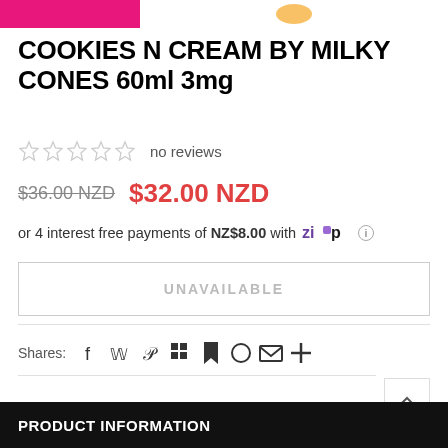[Figure (other): Top banner with pink/magenta branded label strip on left and product image thumbnail on right]
COOKIES N CREAM BY MILKY CONES 60ml 3mg
no reviews
$36.00 NZD  $32.00 NZD
or 4 interest free payments of NZ$8.00 with Zip
UNAVAILABLE
Shares:
PRODUCT INFORMATION